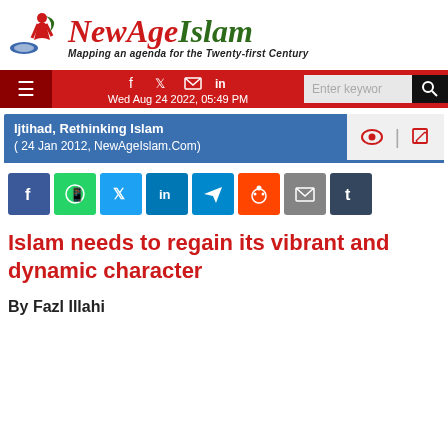[Figure (logo): NewAge Islam logo with red and green text, tagline 'Mapping an agenda for the Twenty-first Century', with a stylized figure and crescent graphic]
Wed Aug 24 2022, 05:49 PM
Ijtihad, Rethinking Islam ( 24 Jan 2012, NewAgeIslam.Com)
[Figure (infographic): Row of social share buttons: Facebook, WhatsApp, Twitter, LinkedIn, Telegram, Reddit, Email, Tumblr]
Islam needs to regain its vibrant and dynamic character
By Fazl Illahi